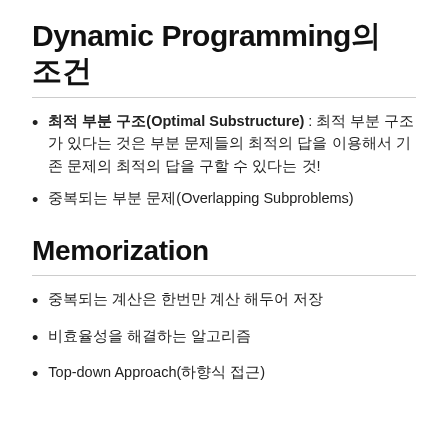Dynamic Programming의 조건
최적 부분 구조(Optimal Substructure) : 최적 부분 구조가 있다는 것은 부분 문제들의 최적의 답을 이용해서 기존 문제의 최적의 답을 구할 수 있다는 것!
중복되는 부분 문제(Overlapping Subproblems)
Memorization
중복되는 계산은 한번만 계산 해두어 저장
비효율성을 해결하는 알고리즘
Top-down Approach(하향식 접근)